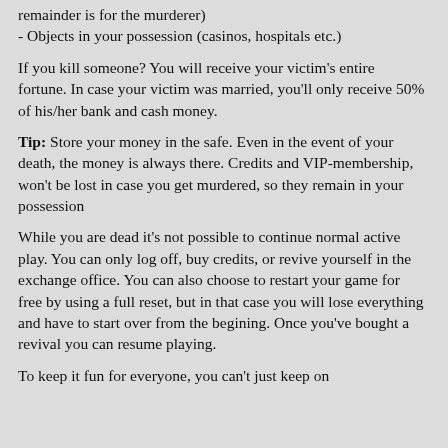remainder is for the murderer)
- Objects in your possession (casinos, hospitals etc.)
If you kill someone? You will receive your victim's entire fortune. In case your victim was married, you'll only receive 50% of his/her bank and cash money.
Tip: Store your money in the safe. Even in the event of your death, the money is always there. Credits and VIP-membership, won't be lost in case you get murdered, so they remain in your possession
While you are dead it's not possible to continue normal active play. You can only log off, buy credits, or revive yourself in the exchange office. You can also choose to restart your game for free by using a full reset, but in that case you will lose everything and have to start over from the begining. Once you've bought a revival you can resume playing.
To keep it fun for everyone, you can't just keep on